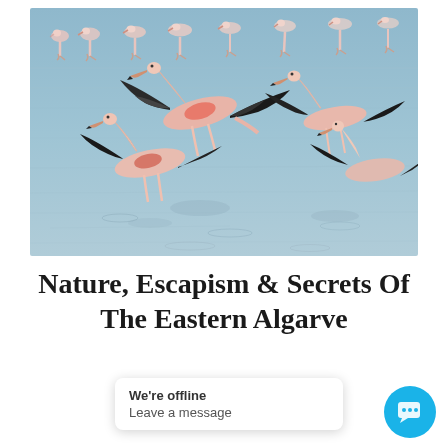[Figure (photo): Flamingos in flight and wading in a shallow blue body of water, Eastern Algarve nature scene.]
Nature, Escapism & Secrets Of The Eastern Algarve
7 nights, from €1384 per person